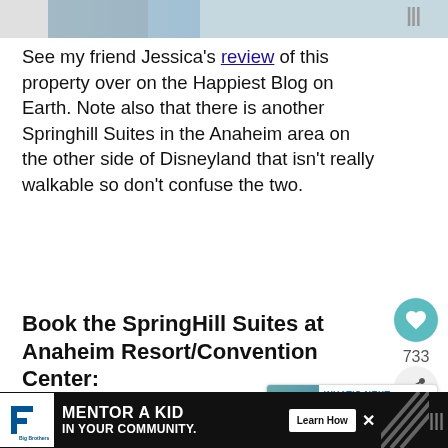[Figure (photo): Partial image strip at top of page showing a person and a blue/gray background with a watermark icon]
See my friend Jessica's review of this property over on the Happiest Blog on Earth. Note also that there is another Springhill Suites in the Anaheim area on the other side of Disneyland that isn't really walkable so don't confuse the two.
Book the SpringHill Suites at Anaheim Resort/Convention Center:
Check out hotel + park ticket packages for discounts from Get Away Today (use code [rst])
[Figure (infographic): What's Next popup showing Disneyland Hotel vs.... with a hotel image thumbnail]
[Figure (infographic): Bottom advertisement bar: Big Brothers Big Sisters - Mentor a Kid in Your Community - Learn How button]